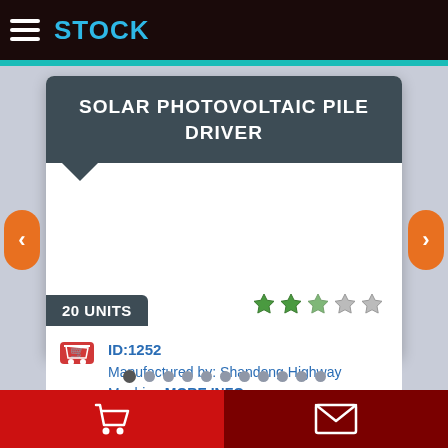STOCK
SOLAR PHOTOVOLTAIC PILE DRIVER
20 UNITS
ID:1252 Manufactured by: Shandong Highway Machine MORE INFO